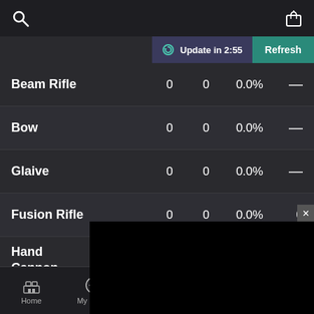Search | Gift
Update in 2:55 | Refresh
| Weapon | Col2 | Col3 | Col4 | Col5 |
| --- | --- | --- | --- | --- |
| Beam Rifle | 0 | 0 | 0.0% | — |
| Bow | 0 | 0 | 0.0% | — |
| Glaive | 0 | 0 | 0.0% | — |
| Fusion Rifle | 0 | 0 | 0.0% | 0 |
| Hand Cannon | 0 |  |  |  |
| Trace Rifle | 0 |  |  |  |
[Figure (screenshot): Black overlay popup with close button (x)]
Home | My Profile | Leaderboards | Database | More